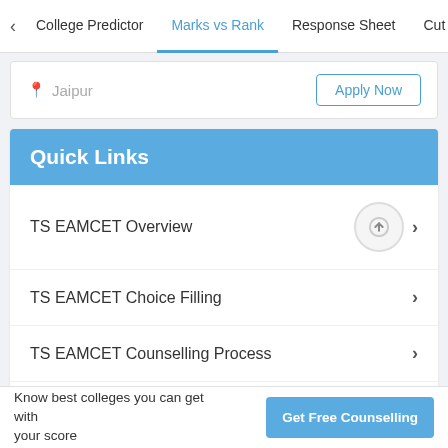College Predictor | Marks vs Rank | Response Sheet | Cut
Jaipur
Apply Now
Quick Links
TS EAMCET Overview
TS EAMCET Choice Filling
TS EAMCET Counselling Process
TS EAMCET Seat Allotment
TS EAMCET Result
TS EAMCET Answer Key
TS EAMCET College Predictor
Know best colleges you can get with your score
Get Free Counselling